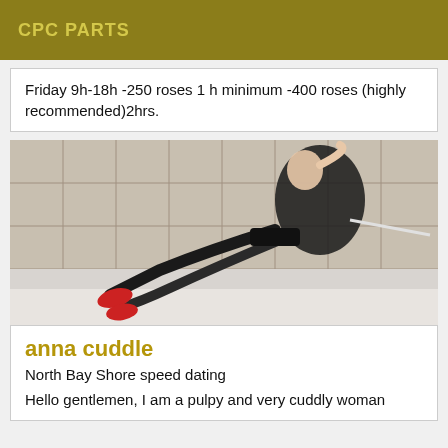CPC PARTS
Friday 9h-18h -250 roses 1 h minimum -400 roses (highly recommended)2hrs.
[Figure (photo): Photo of a woman in black lingerie lying in a bathroom with tiled walls, wearing red high heels]
anna cuddle
North Bay Shore speed dating
Hello gentlemen, I am a pulpy and very cuddly woman